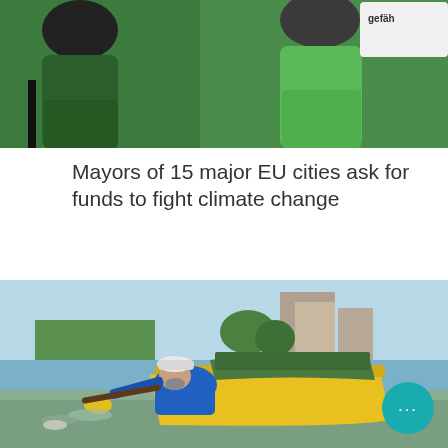[Figure (photo): People wearing green jackets at a climate protest, one holding a sign partially visible]
Mayors of 15 major EU cities ask for funds to fight climate change
[Figure (photo): An elderly man in a blue shirt and white cap leans from a yellow wooden boat to collect debris from a murky river, with city buildings visible in the background]